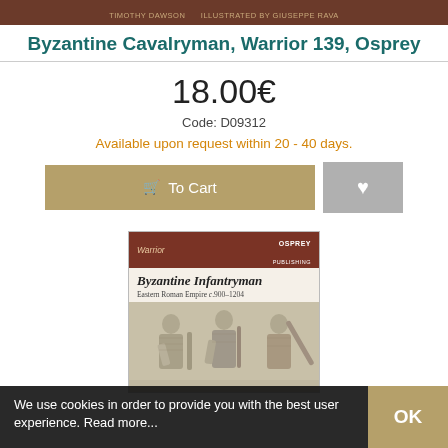TIMOTHY DAWSON    ILLUSTRATED BY GIUSEPPE RAVA
Byzantine Cavalryman, Warrior 139, Osprey
18.00€
Code: D09312
Available upon request within 20 - 40 days.
[Figure (other): Book cover image showing Byzantine Infantryman, Eastern Roman Empire c.900-1204, Osprey Warrior series, with soldiers relief image]
We use cookies in order to provide you with the best user experience. Read more...